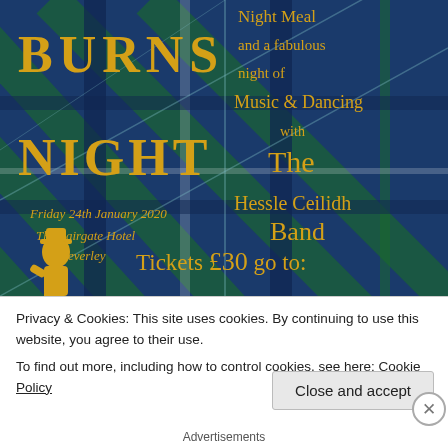[Figure (illustration): Burns Night event poster on a blue/green tartan background. Left side shows 'BURNS NIGHT' in large gold serif letters. Right side shows event details: 'Night Meal and a fabulous night of Music & Dancing with The Hessle Ceilidh Band'. Bottom left shows event details: Friday 24th January 2020, The Lairgate Hotel, Beverley. Bottom shows a gold silhouette of Burns and 'Tickets £30 go to:'. A cookie notice overlay covers the bottom portion.]
Privacy & Cookies: This site uses cookies. By continuing to use this website, you agree to their use.
To find out more, including how to control cookies, see here: Cookie Policy
Close and accept
Advertisements